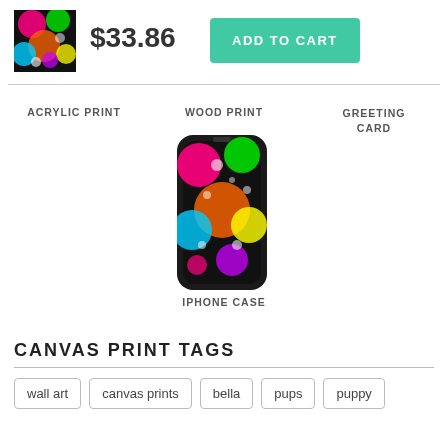[Figure (photo): Colorful psychedelic dog art thumbnail product image]
$33.86
ADD TO CART
ACRYLIC PRINT
WOOD PRINT
GREETING CARD
[Figure (photo): iPhone case with colorful psychedelic dog art]
IPHONE CASE
CANVAS PRINT TAGS
wall art
canvas prints
bella
pups
puppy